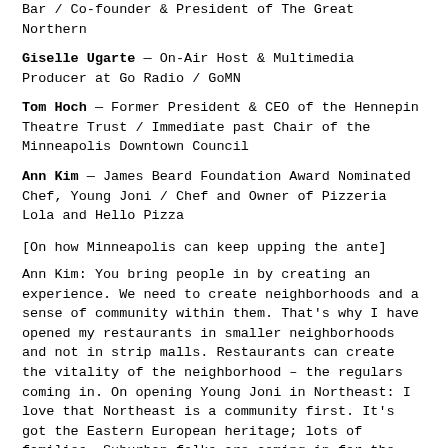Bar / Co-founder & President of The Great Northern
Giselle Ugarte — On-Air Host & Multimedia Producer at Go Radio / GoMN
Tom Hoch — Former President & CEO of the Hennepin Theatre Trust / Immediate past Chair of the Minneapolis Downtown Council
Ann Kim — James Beard Foundation Award Nominated Chef, Young Joni / Chef and Owner of Pizzeria Lola and Hello Pizza
[On how Minneapolis can keep upping the ante]
Ann Kim: You bring people in by creating an experience. We need to create neighborhoods and a sense of community within them. That's why I have opened my restaurants in smaller neighborhoods and not in strip malls. Restaurants can create the vitality of the neighborhood – the regulars coming in. On opening Young Joni in Northeast: I love that Northeast is a community first. It's got the Eastern European heritage; lots of families. Suburban folks are coming in for the sense of community that is already there.
[On MN Nice]
Gisele Ugarte: I came back to Minnesota [from L.A.] and felt like a 20 pound weight had been lifted off my chest that I didn't know had been